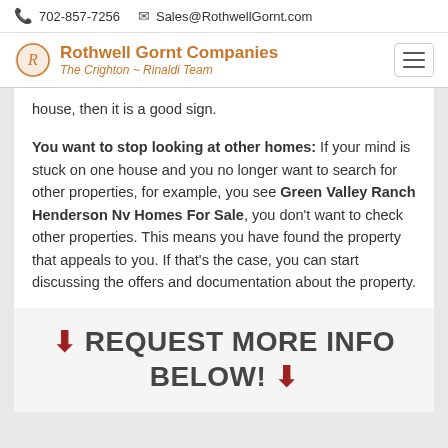702-857-7256  Sales@RothwellGornt.com
Rothwell Gornt Companies – The Crighton ~ Rinaldi Team
house, then it is a good sign.
You want to stop looking at other homes: If your mind is stuck on one house and you no longer want to search for other properties, for example, you see Green Valley Ranch Henderson Nv Homes For Sale, you don't want to check other properties. This means you have found the property that appeals to you. If that's the case, you can start discussing the offers and documentation about the property.
↓ REQUEST MORE INFO BELOW! ↓